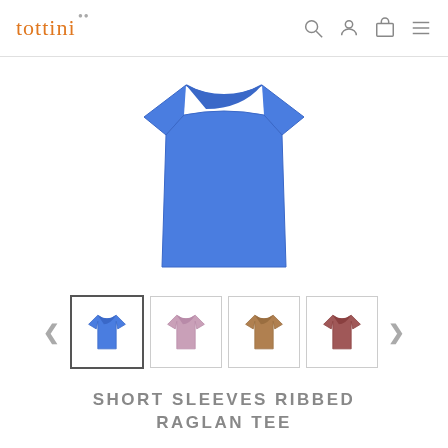tottini
[Figure (photo): Blue short sleeve ribbed raglan tee shirt displayed flat on white background, viewed from front]
[Figure (photo): Thumbnail carousel showing 4 color variants of the shirt: blue (selected), lavender/pink, tan/brown, and dusty rose/mauve. Navigation arrows on either side.]
SHORT SLEEVES RIBBED RAGLAN TEE